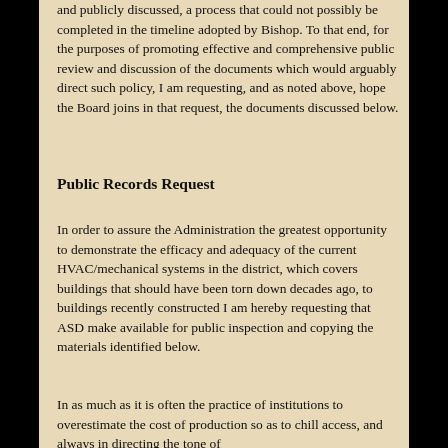and publicly discussed, a process that could not possibly be completed in the timeline adopted by Bishop. To that end, for the purposes of promoting effective and comprehensive public review and discussion of the documents which would arguably direct such policy, I am requesting, and as noted above, hope the Board joins in that request, the documents discussed below.
Public Records Request
In order to assure the Administration the greatest opportunity to demonstrate the efficacy and adequacy of the current HVAC/mechanical systems in the district, which covers buildings that should have been torn down decades ago, to buildings recently constructed I am hereby requesting that ASD make available for public inspection and copying the materials identified below.
In as much as it is often the practice of institutions to overestimate the cost of production so as to chill access, and always in directing the tone of